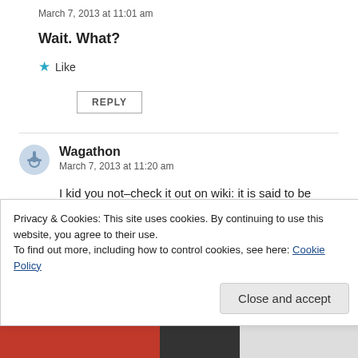March 7, 2013 at 11:01 am
Wait. What?
★ Like
REPLY
Wagathon
March 7, 2013 at 11:20 am
I kid you not–check it out on wiki: it is said to be
Privacy & Cookies: This site uses cookies. By continuing to use this website, you agree to their use.
To find out more, including how to control cookies, see here: Cookie Policy
Close and accept